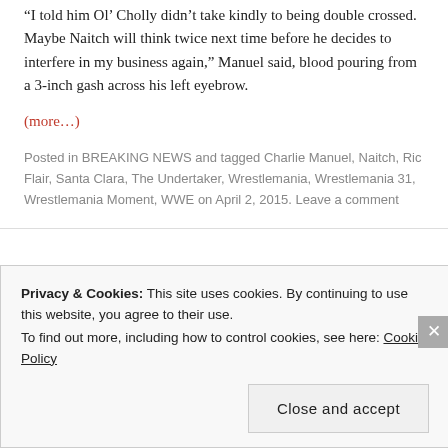“I told him Ol’ Cholly didn’t take kindly to being double crossed. Maybe Naitch will think twice next time before he decides to interfere in my business again,” Manuel said, blood pouring from a 3-inch gash across his left eyebrow.
(more…)
Posted in BREAKING NEWS and tagged Charlie Manuel, Naitch, Ric Flair, Santa Clara, The Undertaker, Wrestlemania, Wrestlemania 31, Wrestlemania Moment, WWE on April 2, 2015. Leave a comment
Privacy & Cookies: This site uses cookies. By continuing to use this website, you agree to their use.
To find out more, including how to control cookies, see here: Cookie Policy
Close and accept